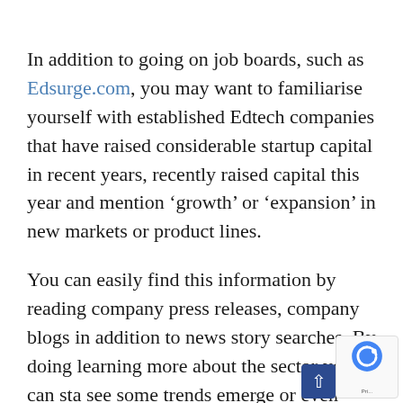In addition to going on job boards, such as Edsurge.com, you may want to familiarise yourself with established Edtech companies that have raised considerable startup capital in recent years, recently raised capital this year and mention ‘growth’ or ‘expansion’ in new markets or product lines.
You can easily find this information by reading company press releases, company blogs in addition to news story searches. By doing learning more about the sector you can sta see some trends emerge or even content, re